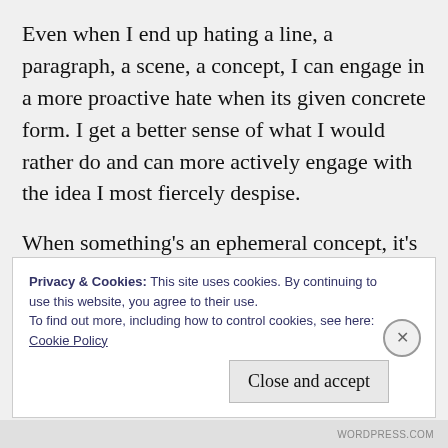Even when I end up hating a line, a paragraph, a scene, a concept, I can engage in a more proactive hate when its given concrete form. I get a better sense of what I would rather do and can more actively engage with the idea I most fiercely despise.
When something's an ephemeral concept, it's harder to challenge it. Your brain is charged with a billion things any given second and it has an annoying tendency to take shortcuts
Privacy & Cookies: This site uses cookies. By continuing to use this website, you agree to their use.
To find out more, including how to control cookies, see here: Cookie Policy
Close and accept
WORDPRESS.COM